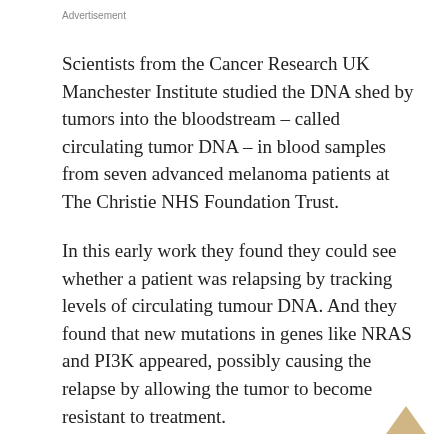Advertisement
Scientists from the Cancer Research UK Manchester Institute studied the DNA shed by tumors into the bloodstream – called circulating tumor DNA – in blood samples from seven advanced melanoma patients at The Christie NHS Foundation Trust.
In this early work they found they could see whether a patient was relapsing by tracking levels of circulating tumour DNA. And they found that new mutations in genes like NRAS and PI3K appeared, possibly causing the relapse by allowing the tumor to become resistant to treatment.
Most melanoma patients respond to treatment at first but their cancer can become resistant within a year. It is hoped that these approaches will allow